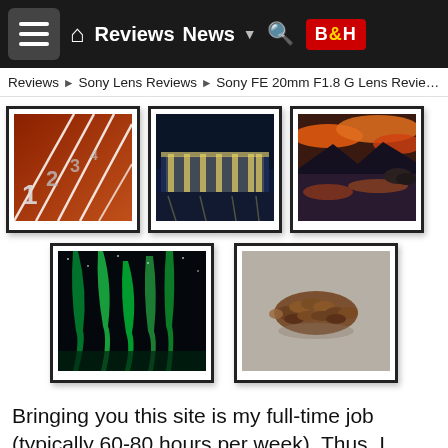Reviews   News   B&H
Reviews ▶ Sony Lens Reviews ▶ Sony FE 20mm F1.8 G Lens Review
[Figure (photo): Running track with lane numbers 1-4 shot from low angle]
[Figure (photo): Modern glass building lit at night with illuminated terrace]
[Figure (photo): Mountain lake reflecting orange sunset clouds with pine trees]
[Figure (photo): Aurora borealis (northern lights) green display over dark landscape]
[Figure (photo): Close-up macro photo of a pine cone on blurred grey background]
Bringing you this site is my full-time job (typically 60-80 hours per week). Thus, I depend solely on the commissions received from you using the links on this